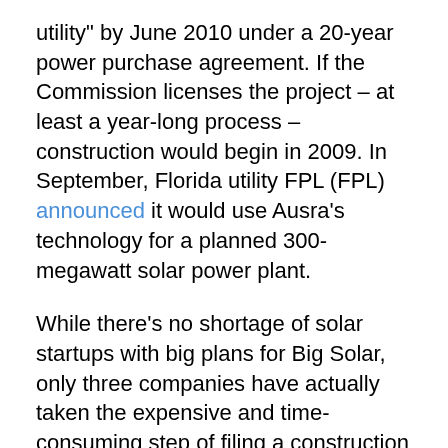utility" by June 2010 under a 20-year power purchase agreement. If the Commission licenses the project – at least a year-long process – construction would begin in 2009. In September, Florida utility FPL (FPL) announced it would use Ausra's technology for a planned 300-megawatt solar power plant.
While there's no shortage of solar startups with big plans for Big Solar, only three companies have actually taken the expensive and time-consuming step of filing a construction application with the California Energy Commission. (On Wednesday, Oakland, California...